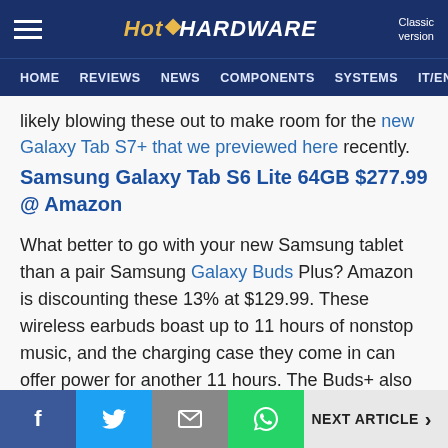HotHardware — Classic version | HOME | REVIEWS | NEWS | COMPONENTS | SYSTEMS | IT/EN
likely blowing these out to make room for the new Galaxy Tab S7+ that we previewed here recently.
Samsung Galaxy Tab S6 Lite 64GB $277.99 @ Amazon
What better to go with your new Samsung tablet than a pair Samsung Galaxy Buds Plus? Amazon is discounting these 13% at $129.99. These wireless earbuds boast up to 11 hours of nonstop music, and the charging case they come in can offer power for another 11 hours. The Buds+ also offer noise filtering options which you can control with your device, so you can hear the things you want to and not much else. Powered by AKG audio, these
f | Twitter | Email | WhatsApp | NEXT ARTICLE >